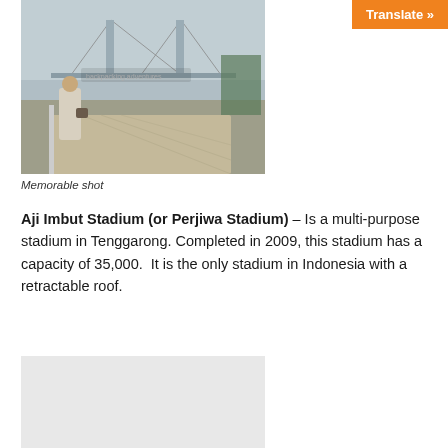[Figure (photo): Person standing near a waterfront promenade with a suspension bridge in the background]
Memorable shot
Aji Imbut Stadium (or Perjiwa Stadium) – Is a multi-purpose stadium in Tenggarong. Completed in 2009, this stadium has a capacity of 35,000.  It is the only stadium in Indonesia with a retractable roof.
[Figure (photo): Partially visible photo at bottom of page]